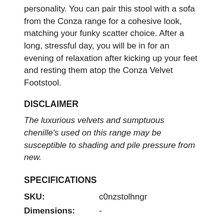personality. You can pair this stool with a sofa from the Conza range for a cohesive look, matching your funky scatter choice. After a long, stressful day, you will be in for an evening of relaxation after kicking up your feet and resting them atop the Conza Velvet Footstool.
DISCLAIMER
The luxurious velvets and sumptuous chenille's used on this range may be susceptible to shading and pile pressure from new.
SPECIFICATIONS
SKU: c0nzstolhngr
Dimensions: -
Frame: Seasonal Hardwood carefully selected from traceable and sustainable sources. All key joints are securely glued, screwed and stapled
Feet: This model sits on Chrome or Smoke Chrome feet. As an alternative, solid wooden feet are available in an American Walnut, Dark, Limed Oak, Natural or Weathered